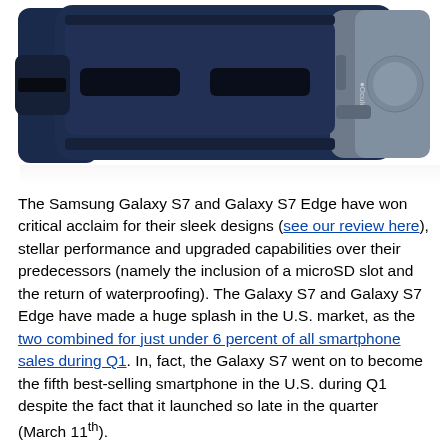[Figure (photo): Photo of a Samsung Gear VR headset (navy blue and white) powered by Oculus, shown from the front/side angle against a white background.]
The Samsung Galaxy S7 and Galaxy S7 Edge have won critical acclaim for their sleek designs (see our review here), stellar performance and upgraded capabilities over their predecessors (namely the inclusion of a microSD slot and the return of waterproofing). The Galaxy S7 and Galaxy S7 Edge have made a huge splash in the U.S. market, as the two combined for just under 6 percent of all smartphone sales during Q1. In, fact, the Galaxy S7 went on to become the fifth best-selling smartphone in the U.S. during Q1 despite the fact that it launched so late in the quarter (March 11th).